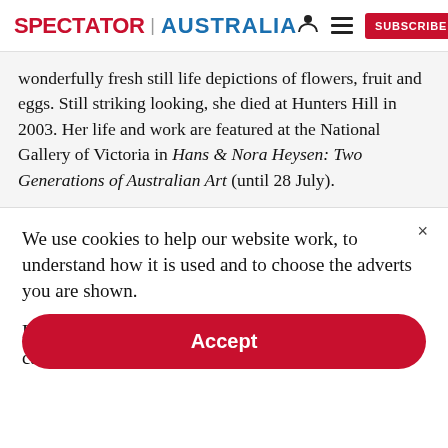SPECTATOR | AUSTRALIA
wonderfully fresh still life depictions of flowers, fruit and eggs. Still striking looking, she died at Hunters Hill in 2003. Her life and work are featured at the National Gallery of Victoria in Hans & Nora Heysen: Two Generations of Australian Art (until 28 July).
We use cookies to help our website work, to understand how it is used and to choose the adverts you are shown.
By clicking "Accept" you agree to us doing so. You can read more in our privacy policy.